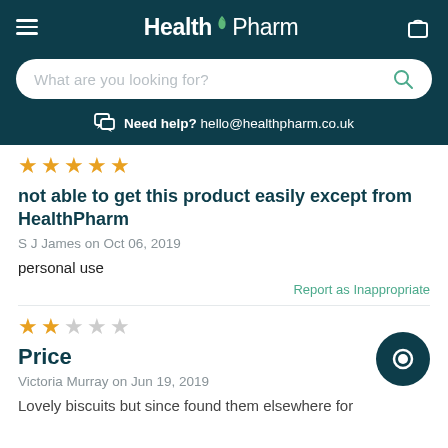HealthPharm — navigation header with logo, hamburger menu, cart icon
What are you looking for?
Need help? hello@healthpharm.co.uk
★★★★★ (5 stars)
not able to get this product easily except from HealthPharm
S J James on Oct 06, 2019
personal use
Report as Inappropriate
★★★☆☆ (2 stars)
Price
Victoria Murray on Jun 19, 2019
Lovely biscuits but since found them elsewhere for